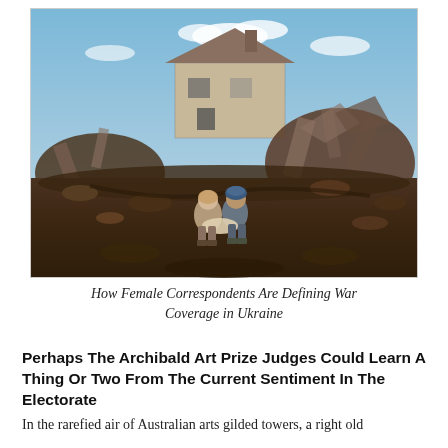[Figure (photo): Two women sit among rubble and debris in front of a destroyed house with a blue sky in the background, illustrating war devastation in Ukraine.]
How Female Correspondents Are Defining War Coverage in Ukraine
Perhaps The Archibald Art Prize Judges Could Learn A Thing Or Two From The Current Sentiment In The Electorate
In the rarefied air of Australian arts gilded towers, a right old